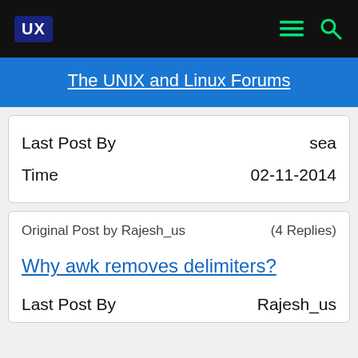UX | The UNIX and Linux Forums
Last Post By   sea
Time   02-11-2014
Original Post by Rajesh_us   (4 Replies)
Why awk removes delimiters?
Last Post By   Rajesh_us